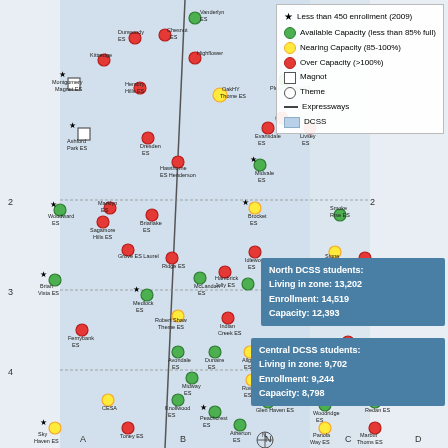[Figure (map): DCSS elementary school capacity map showing North, Central, and South zones with color-coded dots indicating available capacity (green), nearing capacity (yellow), and over capacity (red). Star symbols indicate schools with less than 450 enrollment in 2009. Square symbols indicate magnet schools, circle outlines indicate theme schools. Expressways and DCSS boundaries shown.]
Less than 450 enrollment (2009)
Available Capacity (less than 85% full)
Nearing Capacity (85-100%)
Over Capacity (>100%)
Magnot
Theme
Expressways
DCSS
North DCSS students: Living in zone: 13,202 Enrollment: 14,519 Capacity: 12,393
Central DCSS students: Living in zone: 9,702 Enrollment: 9,244 Capacity: 8,798
South DCSS students: Living in zone: 21,513 Enrollment: 18,267 Capacity: 21,192